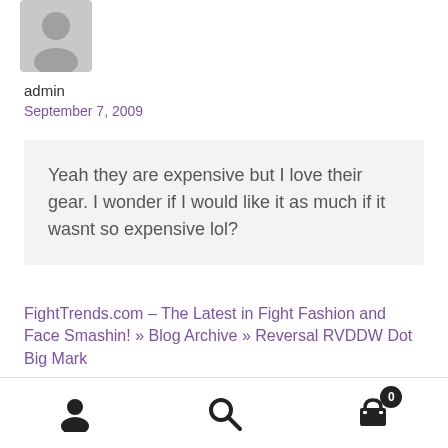[Figure (illustration): Gray silhouette avatar icon of a person]
admin
September 7, 2009
Yeah they are expensive but I love their gear. I wonder if I would like it as much if it wasnt so expensive lol?
FightTrends.com – The Latest in Fight Fashion and Face Smashin! » Blog Archive » Reversal RVDDW Dot Big Mark
[Figure (illustration): Bottom navigation bar with user icon, search icon, and cart icon with badge showing 0]